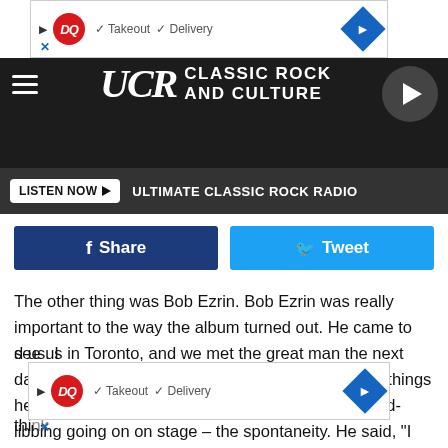[Figure (screenshot): Dairy Queen advertisement banner with DQ logo, Takeout and Delivery checkmarks, and a blue navigation diamond arrow]
[Figure (logo): UCR Classic Rock and Culture website header with hamburger menu, UCR logo, site name, and play button]
LISTEN NOW ▶  ULTIMATE CLASSIC ROCK RADIO
[Figure (screenshot): Facebook Share button (dark blue) and Twitter Tweet button (light blue)]
The other thing was Bob Ezrin. Bob Ezrin was really important to the way the album turned out. He came to see us in Toronto, and we met the great man the next day and he just said some great things. One of the things he said is that what really impressed him was the ad-libbing going on on stage – the spontaneity. He said, "I want to capture that. That's what you do and that's what people love to see becaus[e]...d us. I thi[nk]...
[Figure (screenshot): Dairy Queen advertisement banner overlaying bottom of text — same DQ logo, Takeout and Delivery checkmarks, blue navigation diamond]